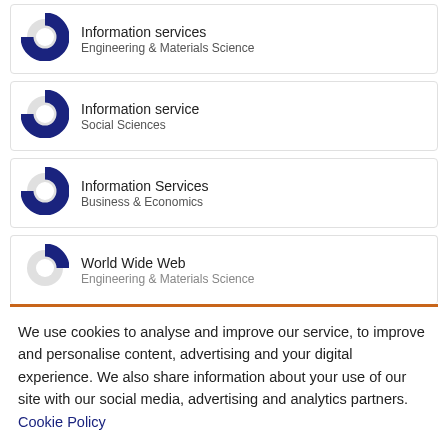Information services — Engineering & Materials Science
Information service — Social Sciences
Information Services — Business & Economics
World Wide Web — Engineering & Materials Science
We use cookies to analyse and improve our service, to improve and personalise content, advertising and your digital experience. We also share information about your use of our site with our social media, advertising and analytics partners.  Cookie Policy
Cookie settings | Accept all cookies